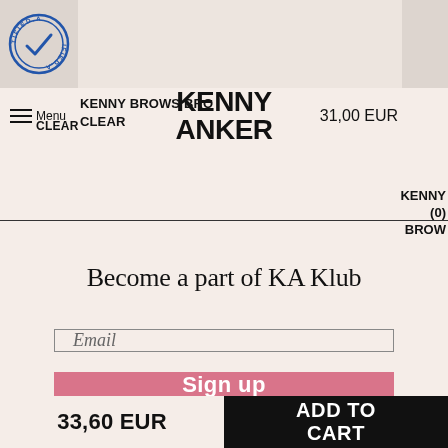[Figure (screenshot): Partial certified stamp/badge logo in blue circle, top left product image strip]
KENNY BROWS BRO... CLEAR | KENNY ANKER logo | 31,00 EUR | KENNY BROW...
Become a part of KA Klub
Email
Sign up
33,60 EUR
ADD TO CART